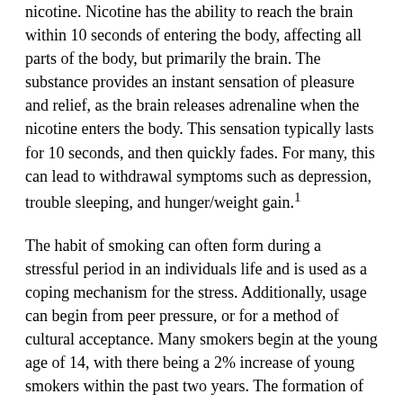nicotine. Nicotine has the ability to reach the brain within 10 seconds of entering the body, affecting all parts of the body, but primarily the brain. The substance provides an instant sensation of pleasure and relief, as the brain releases adrenaline when the nicotine enters the body. This sensation typically lasts for 10 seconds, and then quickly fades. For many, this can lead to withdrawal symptoms such as depression, trouble sleeping, and hunger/weight gain.¹
The habit of smoking can often form during a stressful period in an individuals life and is used as a coping mechanism for the stress. Additionally, usage can begin from peer pressure, or for a method of cultural acceptance. Many smokers begin at the young age of 14, with there being a 2% increase of young smokers within the past two years. The formation of this habit at such a young age can greatly increase the risk of nicotine addiction due to the individual's reliance on the drug from early on.²
With the awareness of smoking and its link to disease and health complications rising, smoking rates have rapidly declined since 1974. Though the current number of smokers in the UK is declining, approximately 17 percent of individuals still currently smoke in the UK, with 5 percent of these individuals using e-